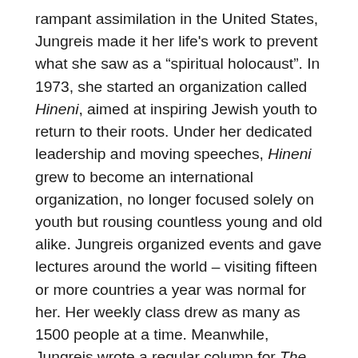rampant assimilation in the United States, Jungreis made it her life's work to prevent what she saw as a "spiritual holocaust". In 1973, she started an organization called Hineni, aimed at inspiring Jewish youth to return to their roots. Under her dedicated leadership and moving speeches, Hineni grew to become an international organization, no longer focused solely on youth but rousing countless young and old alike. Jungreis organized events and gave lectures around the world – visiting fifteen or more countries a year was normal for her. Her weekly class drew as many as 1500 people at a time. Meanwhile, Jungreis wrote a regular column for The Jewish Press (the world's largest English-language Jewish paper) for some 45 years, making it the longest running column in the publication's history. She also wrote four best-selling books, and had a television programme. In 2004, the Rebbetzin spoke at the Republican National Convention, and in 2008 was selected by President Bush to join him on his delegation to Jerusalem for Israel's 60th anniversary. Today, she is recognized as one of the central pioneers of the modern